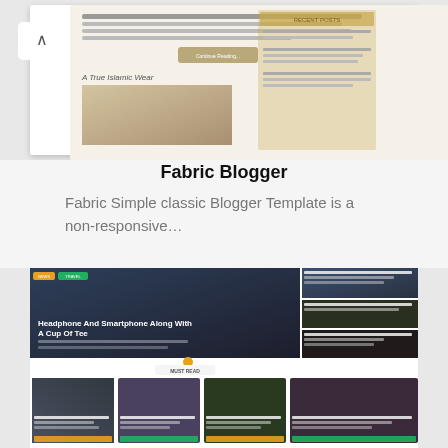[Figure (screenshot): Screenshot of the Fabric Blogger Template - top portion showing a beige/cream colored blog layout with navigation, article text, a button reading 'Continue Reading...', a sidebar with recent posts, and a post titled 'A True Islamic Wear' with an image below.]
Fabric Blogger
Fabric Simple classic Blogger Template is a non-responsive…
[Figure (screenshot): Screenshot of a modern dark-themed blogger template showing a featured hero image of headphones and a smartphone with overlay text 'Headphone And Smartphone Along With A Cup Of Tee', sidebar article thumbnails on the right, a 'MUST READ' section with four article cards each featuring images and titles, and a bottom HEALTH section with more articles and a social media widget.]